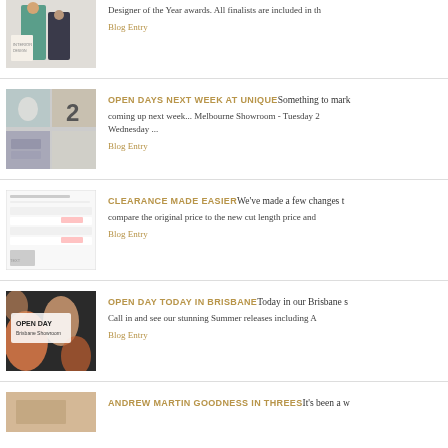[Figure (photo): Partial photo of two people holding a bag with 'Interior' text, cropped at top]
Designer of the Year awards. All finalists are included in th
Blog Entry
[Figure (photo): Collage of interior design images with a large '2' numeral]
OPEN DAYS NEXT WEEK AT UNIQUE
Something to mark coming up next week... Melbourne Showroom - Tuesday 2 Wednesday ...
Blog Entry
[Figure (screenshot): Screenshot of a clearance product listing or price comparison page]
CLEARANCE MADE EASIER
We've made a few changes to compare the original price to the new cut length price and
Blog Entry
[Figure (photo): Open Day Brisbane Showroom promotional image with decorative pattern background]
OPEN DAY TODAY IN BRISBANE
Today in our Brisbane s Call in and see our stunning Summer releases including A
Blog Entry
[Figure (photo): Partial photo at bottom, cropped]
ANDREW MARTIN GOODNESS IN THREES
It's been a w